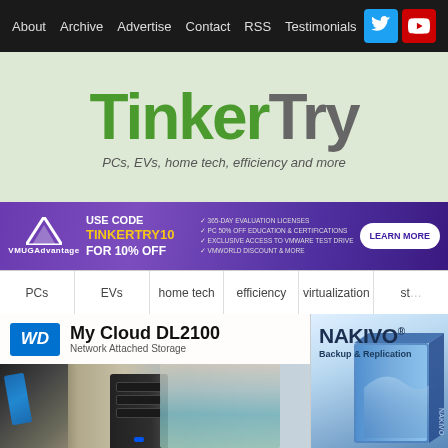About | Archive | Advertise | Contact | RSS | Testimonials
TinkerTry
PCs, EVs, home tech, efficiency and more
[Figure (infographic): VMUG Advantage banner ad: Use code TINKERTRY10 for 10% off. Learn More button. Features listed: 365-day evaluation licenses, exclusive access to VMware test drive, 50% off education & certifications, VMworld discount & more.]
PCs | EVs | home tech | efficiency | virtualization | st...
[Figure (photo): WD My Cloud DL2100 Network Attached Storage product image with NAS device, scissors in a cup, and a woman working in background]
[Figure (photo): NAKIVO Backup & Replication advertisement showing product box art]